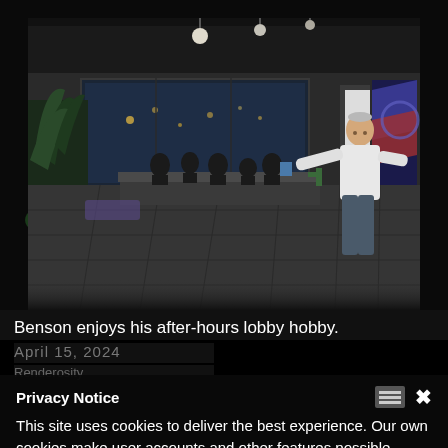[Figure (screenshot): 3D rendered video game scene showing a building lobby interior at night. A character (Benson) stands on the right side of the lobby near a wall with a colorful mural/flag. The lobby features a reception desk area with silhouetted figures, tropical plants on the left, pendant lights on the ceiling, large windows showing a night cityscape, and tiled flooring.]
Benson enjoys his after-hours lobby hobby.
April 15, 2024
Privacy Notice
This site uses cookies to deliver the best experience. Our own cookies make user accounts and other features possible. Third-party cookies are used to display relevant ads and to analyze how Renderosity is used. By using our site, you acknowledge that you have read and understood our Terms of Service, including our Cookie Policy and our Privacy Policy.